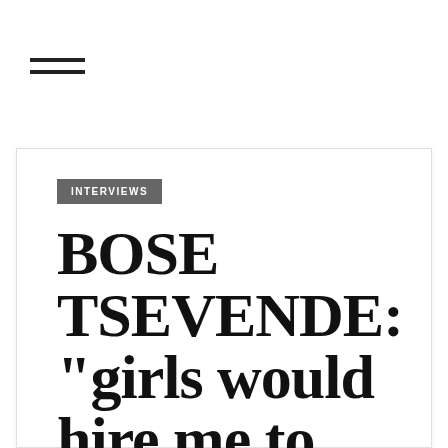[Figure (other): Hamburger menu icon with two horizontal lines]
INTERVIEWS
BOSE TSEVENDE: “girls would hire me to help them write